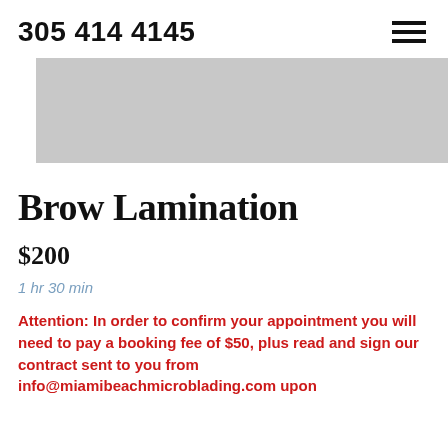305 414 4145
[Figure (photo): Gray rectangular hero image placeholder]
Brow Lamination
$200
1 hr 30 min
Attention: In order to confirm your appointment you will need to pay a booking fee of $50, plus read and sign our contract sent to you from info@miamibeachmicroblading.com upon